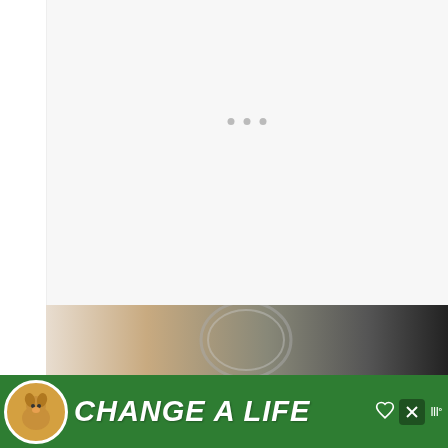[Figure (screenshot): Loading indicator with three small grey dots centered in white content area]
Table of Contents
[Figure (photo): Close-up photo of what appears to be a clock or mechanical device with chrome/metallic elements]
[Figure (infographic): Green advertisement banner with a dog image and text 'CHANGE A LIFE' in bold italic white letters]